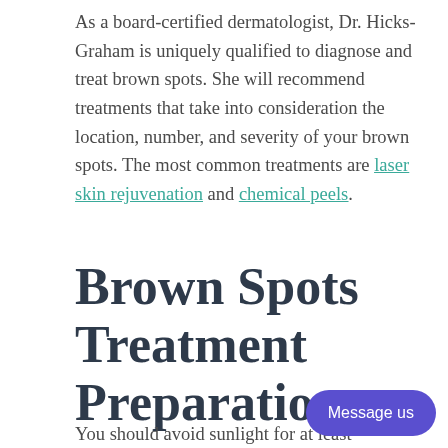As a board-certified dermatologist, Dr. Hicks-Graham is uniquely qualified to diagnose and treat brown spots. She will recommend treatments that take into consideration the location, number, and severity of your brown spots. The most common treatments are laser skin rejuvenation and chemical peels.
Brown Spots Treatment Preparation
You should avoid sunlight for at least